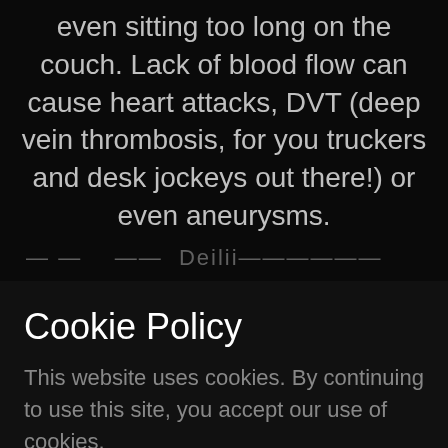even sitting too long on the couch. Lack of blood flow can cause heart attacks, DVT (deep vein thrombosis, for you truckers and desk jockeys out there!) or even aneurysms.
...blurred/partially visible text...
Cookie Policy
This website uses cookies. By continuing to use this site, you accept our use of cookies.
DECLINE
ACCEPT & CLOSE